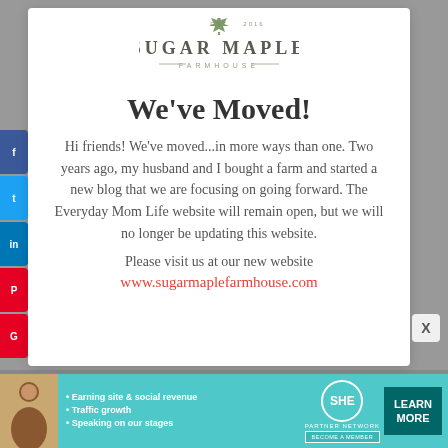[Figure (logo): Sugar Maple Farmhouse logo with maple leaf and text]
We've Moved!
Hi friends! We've moved...in more ways than one. Two years ago, my husband and I bought a farm and started a new blog that we are focusing on going forward. The Everyday Mom Life website will remain open, but we will no longer be updating this website.
Please visit us at our new website
www.sugarmaplefarmhouse.com
[Figure (infographic): SHE Partner Network advertisement banner with photo, bullets about earning site & social revenue, traffic growth, speaking on our stages, and Learn More button]